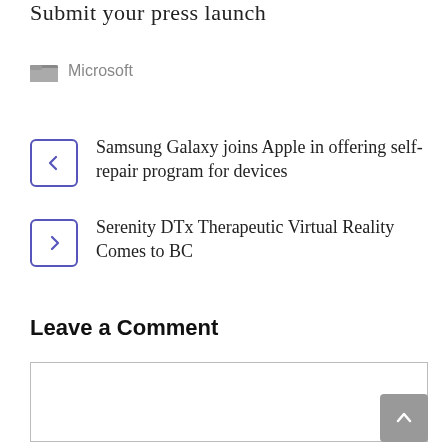Submit your press launch
Microsoft
Samsung Galaxy joins Apple in offering self-repair program for devices
Serenity DTx Therapeutic Virtual Reality Comes to BC
Leave a Comment